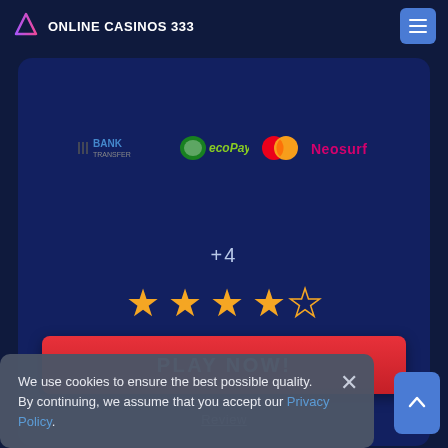ONLINE CASINOS 333
[Figure (logo): Payment method logos: Bank Transfer, ecoPayz, Mastercard, Neosurf]
+4
[Figure (infographic): 4 out of 5 stars rating (4 filled gold stars, 1 empty star)]
PLAY NOW!
Review
4
We use cookies to ensure the best possible quality. By continuing, we assume that you accept our Privacy Policy.